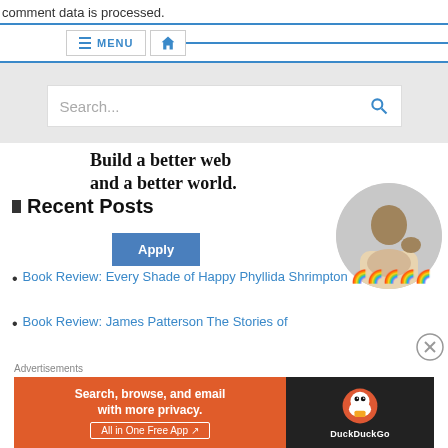comment data is processed.
≡ MENU 🏠
[Figure (screenshot): Search bar with placeholder text 'Search...' and a blue magnifying glass icon on the right, on a gray background]
[Figure (infographic): Overlapping advertisement showing 'Build a better web and a better world.' with Apply button, and a circular photo of a man thinking at a desk]
Recent Posts
Book Review: Every Shade of Happy Phyllida Shrimpton 🌈🌈🌈🌈🌈
Book Review: James Patterson The Stories of
[Figure (screenshot): DuckDuckGo advertisement banner: orange left panel reading 'Search, browse, and email with more privacy. All in One Free App', black right panel with DuckDuckGo duck logo and name]
Advertisements
ADPOST-TITLE-AD